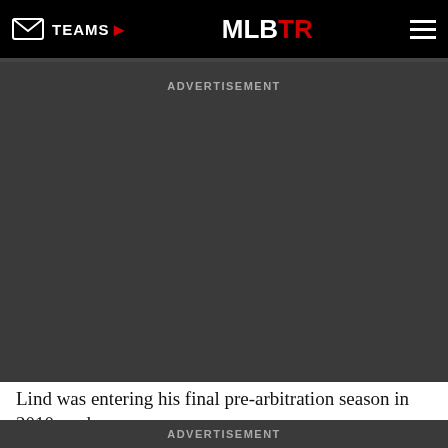TEAMS | MLBTR
ADVERTISEMENT
Lind was entering his final pre-arbitration season in 2010, and
ADVERTISEMENT